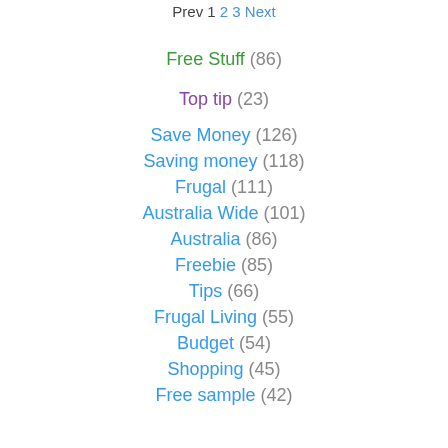Prev 1 2 3 Next
Free Stuff (86)
Top tip (23)
Save Money (126)
Saving money (118)
Frugal (111)
Australia Wide (101)
Australia (86)
Freebie (85)
Tips (66)
Frugal Living (55)
Budget (54)
Shopping (45)
Free sample (42)